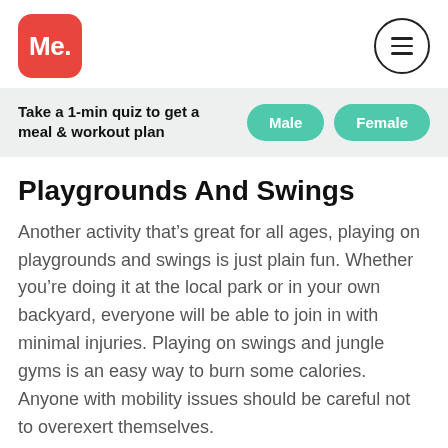[Figure (logo): Red rounded square logo with white text 'Me.' in bold]
[Figure (other): Circle menu icon with three horizontal lines (hamburger menu)]
Take a 1-min quiz to get a meal & workout plan
Male
Female
Playgrounds And Swings
Another activity that's great for all ages, playing on playgrounds and swings is just plain fun. Whether you're doing it at the local park or in your own backyard, everyone will be able to join in with minimal injuries. Playing on swings and jungle gyms is an easy way to burn some calories. Anyone with mobility issues should be careful not to overexert themselves.